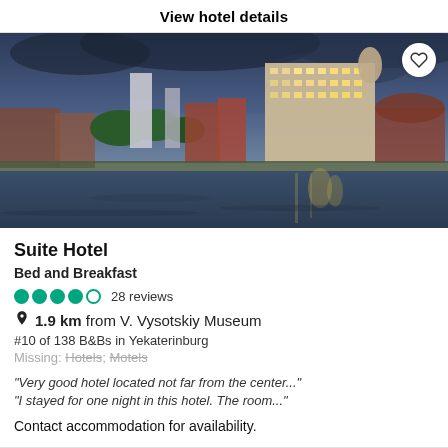View hotel details
[Figure (photo): Hotel building viewed across a river at dusk, city skyline with tall modern buildings reflecting in the water, cloudy sky]
Suite Hotel
Bed and Breakfast
●●●●○ 28 reviews
📍 1.9 km from V. Vysotskiy Museum
#10 of 138 B&Bs in Yekaterinburg
Missing: Hotels; Motels
"Very good hotel located not far from the center..."
"I stayed for one night in this hotel. The room..."
Contact accommodation for availability.